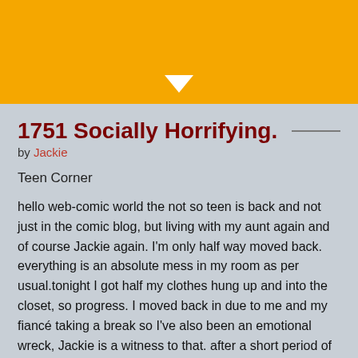▼
1751 Socially Horrifying.
by Jackie
Teen Corner
hello web-comic world the not so teen is back and not just in the comic blog, but living with my aunt again and of course Jackie again. I'm only half way moved back. everything is an absolute mess in my room as per usual.tonight I got half my clothes hung up and into the closet, so progress. I moved back in due to me and my fiancé taking a break so I've also been an emotional wreck, Jackie is a witness to that. after a short period of time apart though we are attempting to work things out but continue living apart so we will see how that goes. college is interesting, i'm enjoying it for the most part. I've gotten to cut and dye hair so far and practice plenty on my